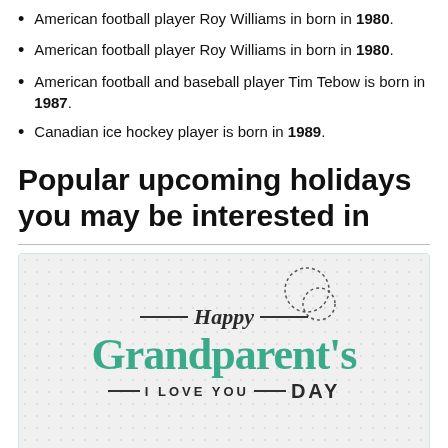American football player Roy Williams in born in 1980.
American football player Roy Williams in born in 1980.
American football and baseball player Tim Tebow is born in 1987.
Canadian ice hockey player is born in 1989.
Popular upcoming holidays you may be interested in
[Figure (illustration): Happy Grandparent's Day greeting card with teal/dark text, dashed circles decoration, dash lines, and dot pattern background. Text reads: Happy Grandparent's — I LOVE YOU — Day]